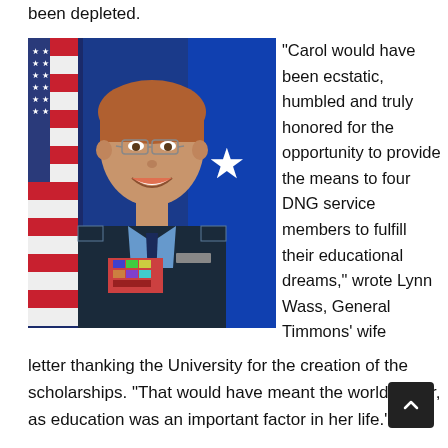been depleted.
[Figure (photo): Official military portrait photo of a woman in Air Force uniform with ribbons and medals, smiling, with American flag and blue starred flag in background.]
“Carol would have been ecstatic, humbled and truly honored for the opportunity to provide the means to four DNG service members to fulfill their educational dreams,” wrote Lynn Wass, General Timmons’ wife
letter thanking the University for the creation of the scholarships. “That would have meant the world to her, as education was an important factor in her life.”